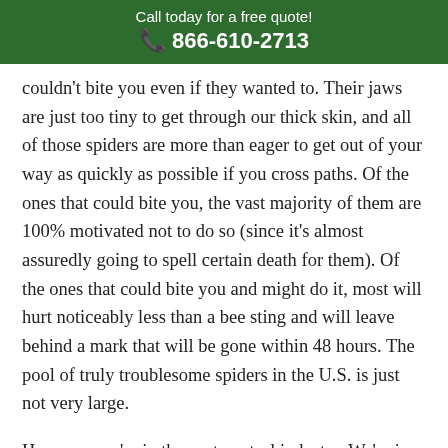Call today for a free quote! 📞 866-610-2713
couldn't bite you even if they wanted to. Their jaws are just too tiny to get through our thick skin, and all of those spiders are more than eager to get out of your way as quickly as possible if you cross paths. Of the ones that could bite you, the vast majority of them are 100% motivated not to do so (since it's almost assuredly going to spell certain death for them). Of the ones that could bite you and might do it, most will hurt noticeably less than a bee sting and will leave behind a mark that will be gone within 48 hours. The pool of truly troublesome spiders in the U.S. is just not very large.
However, we're in the pest control industry. We're in this business because we understand that some people